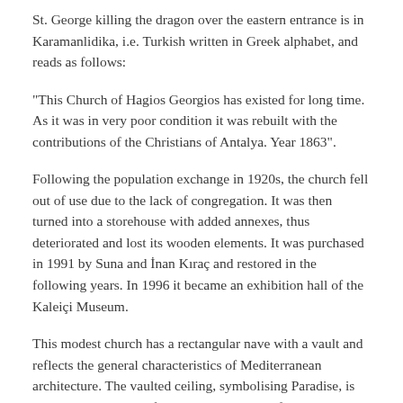St. George killing the dragon over the eastern entrance is in Karamanlidika, i.e. Turkish written in Greek alphabet, and reads as follows:
“This Church of Hagios Georgios has existed for long time. As it was in very poor condition it was rebuilt with the contributions of the Christians of Antalya. Year 1863”.
Following the population exchange in 1920s, the church fell out of use due to the lack of congregation. It was then turned into a storehouse with added annexes, thus deteriorated and lost its wooden elements. It was purchased in 1991 by Suna and İnan Kıraç and restored in the following years. In 1996 it became an exhibition hall of the Kaleiçi Museum.
This modest church has a rectangular nave with a vault and reflects the general characteristics of Mediterranean architecture. The vaulted ceiling, symbolising Paradise, is decorated in shades of blue and plaster motifs